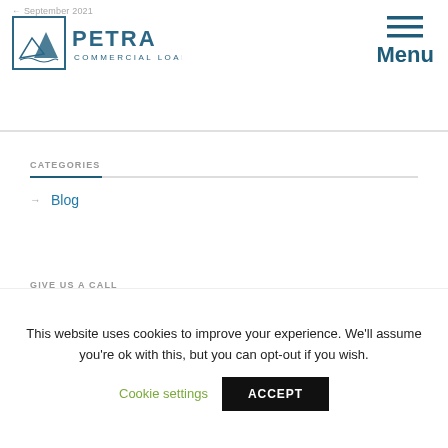← September 2021
[Figure (logo): Petra Commercial Loans logo with mountain graphic and company name]
Menu
CATEGORIES
→ Blog
GIVE US A CALL
This website uses cookies to improve your experience. We'll assume you're ok with this, but you can opt-out if you wish. Cookie settings ACCEPT